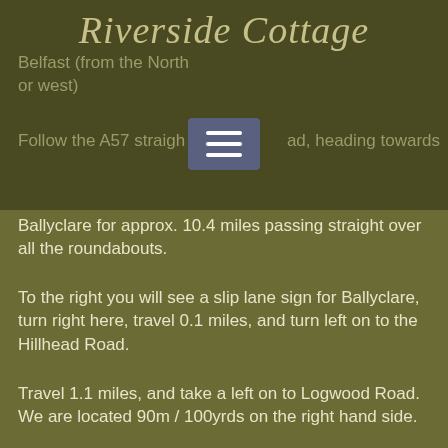Riverside Cottage
Belfast (from the North or west)
Follow the A57 straight ahead, heading towards Ballyclare for approx. 10.4 miles passing straight over all the roundabouts.
To the right you will see a slip lane sign for Ballyclare, turn right here, travel 0.1 miles, and turn left on to the Hillhead Road.
Travel 1.1 miles, and take a left on to Logwood Road. We are located 90m / 100yrds on the right hand side.
You will see a long White wall, with ‘Logwood Mill’
Belfast Direction (Stenaline, George Best Airport, etc or from the South or East)